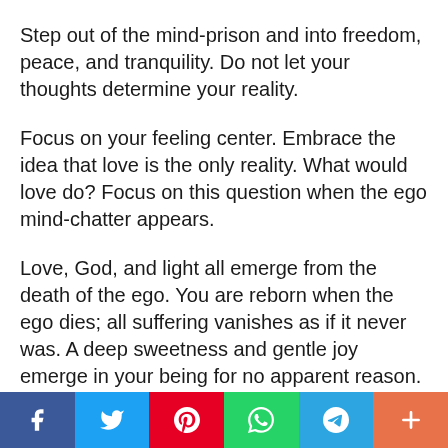Step out of the mind-prison and into freedom, peace, and tranquility. Do not let your thoughts determine your reality.
Focus on your feeling center. Embrace the idea that love is the only reality. What would love do? Focus on this question when the ego mind-chatter appears.
Love, God, and light all emerge from the death of the ego. You are reborn when the ego dies; all suffering vanishes as if it never was. A deep sweetness and gentle joy emerge in your being for no apparent reason. You can't describe it to
[Figure (infographic): Social share bar with six colored buttons: Facebook (blue), Twitter (light blue), Pinterest (red), WhatsApp (green), Telegram (blue), More/Add (orange-red)]